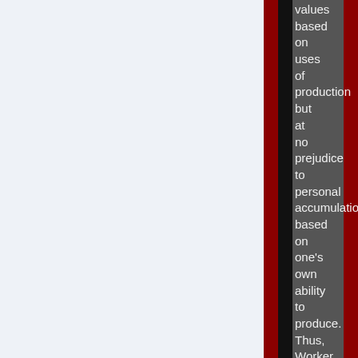values based on uses of production but at no prejudice to personal accumulation based on one's own ability to produce. Thus, Worker Capitalism could